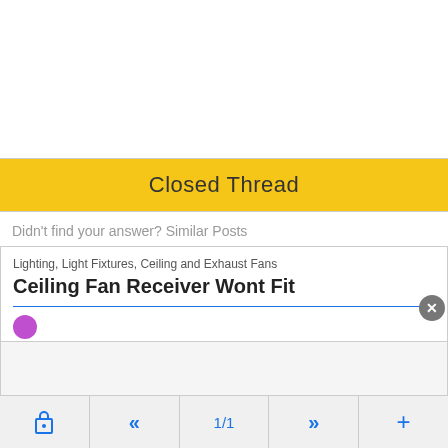[Figure (screenshot): White empty area at top of page, likely content above the viewport fold]
Closed Thread
Didn't find your answer? Similar Posts
Lighting, Light Fixtures, Ceiling and Exhaust Fans
Ceiling Fan Receiver Wont Fit
1/1